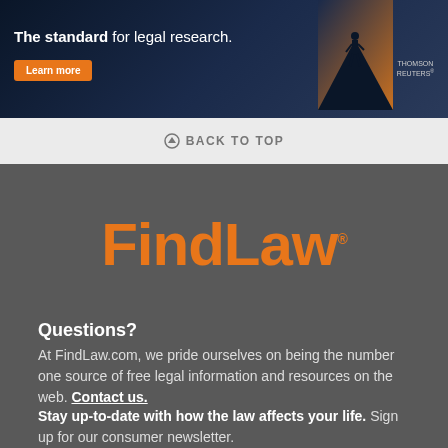[Figure (screenshot): Thomson Reuters advertisement banner: dark blue/navy background with silhouette figure on mountain peak, orange 'Learn more' button, text 'The standard for legal research.' and Thomson Reuters logo]
BACK TO TOP
[Figure (logo): FindLaw logo in orange bold text on dark gray background]
Questions?
At FindLaw.com, we pride ourselves on being the number one source of free legal information and resources on the web. Contact us.
Stay up-to-date with how the law affects your life. Sign up for our consumer newsletter.